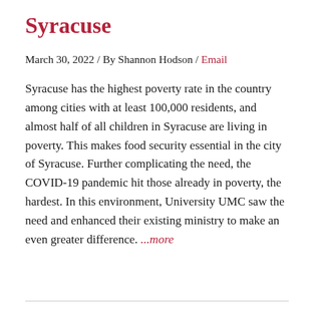Syracuse
March 30, 2022 / By Shannon Hodson / Email
Syracuse has the highest poverty rate in the country among cities with at least 100,000 residents, and almost half of all children in Syracuse are living in poverty. This makes food security essential in the city of Syracuse. Further complicating the need, the COVID-19 pandemic hit those already in poverty, the hardest. In this environment, University UMC saw the need and enhanced their existing ministry to make an even greater difference. ...more